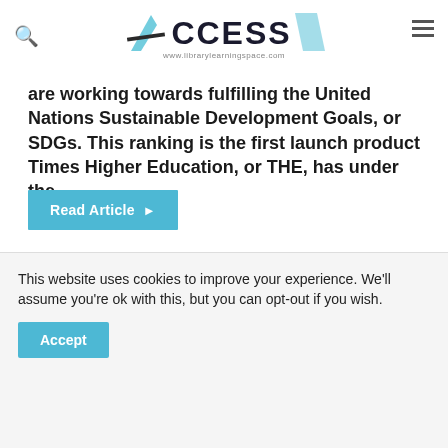ACCESS www.librarylearningspace.com
are working towards fulfilling the United Nations Sustainable Development Goals, or SDGs. This ranking is the first launch product Times Higher Education, or THE, has under the...
Read Article ▶
Clarivate Analytics introduces Simplified
This website uses cookies to improve your experience. We'll assume you're ok with this, but you can opt-out if you wish.
Accept